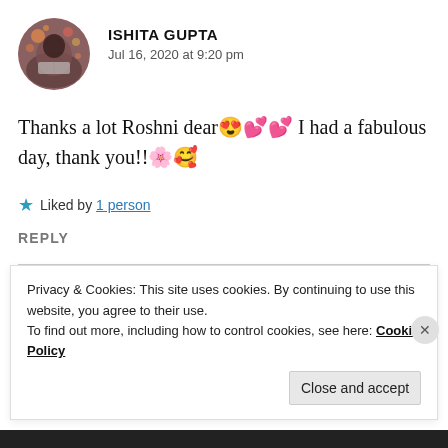[Figure (photo): Circular avatar photo of a person reading a book with bokeh lights background]
ISHITA GUPTA
Jul 16, 2020 at 9:20 pm
Thanks a lot Roshni dear😍💕💕 I had a fabulous day, thank you!!🌸🥰
★ Liked by 1 person
REPLY
Privacy & Cookies: This site uses cookies. By continuing to use this website, you agree to their use.
To find out more, including how to control cookies, see here: Cookie Policy
Close and accept